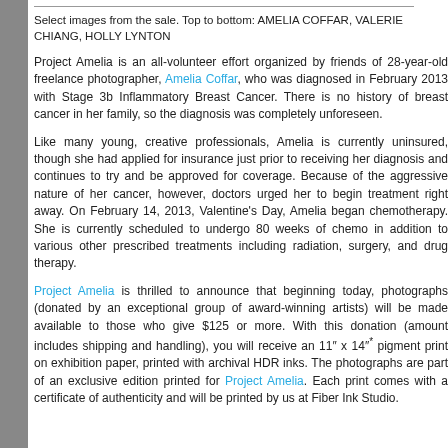Select images from the sale. Top to bottom: AMELIA COFFAR, VALERIE CHIANG, HOLLY LYNTON
Project Amelia is an all-volunteer effort organized by friends of 28-year-old freelance photographer, Amelia Coffar, who was diagnosed in February 2013 with Stage 3b Inflammatory Breast Cancer. There is no history of breast cancer in her family, so the diagnosis was completely unforeseen.
Like many young, creative professionals, Amelia is currently uninsured, though she had applied for insurance just prior to receiving her diagnosis and continues to try and be approved for coverage. Because of the aggressive nature of her cancer, however, doctors urged her to begin treatment right away. On February 14, 2013, Valentine's Day, Amelia began chemotherapy. She is currently scheduled to undergo 80 weeks of chemo in addition to various other prescribed treatments including radiation, surgery, and drug therapy.
Project Amelia is thrilled to announce that beginning today, photographs (donated by an exceptional group of award-winning artists) will be made available to those who give $125 or more. With this donation (amount includes shipping and handling), you will receive an 11" x 14"* pigment print on exhibition paper, printed with archival HDR inks. The photographs are part of an exclusive edition printed for Project Amelia. Each print comes with a certificate of authenticity and will be printed by us at Fiber Ink Studio.